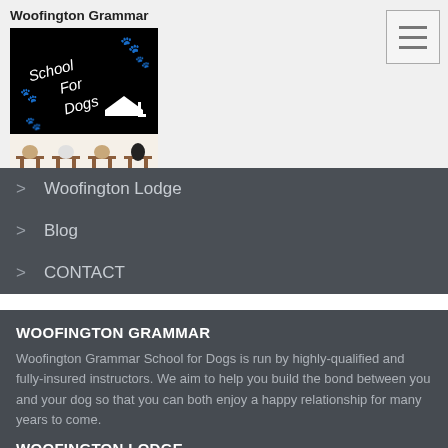Woofington Grammar
[Figure (logo): Woofington Grammar School for Dogs logo: black background with white text 'School For Dogs', paw prints, and a graduation cap. Below are cartoon dogs sitting at school desks.]
> Woofington Lodge
> Blog
> CONTACT
WOOFINGTON GRAMMAR
Woofington Grammar School for Dogs is run by highly-qualified and fully-insured instructors.  We aim to help you build the bond between you and your dog so that you can both enjoy a happy relationship for many years to come.
WOOFINGTON LODGE
Woofington Lodge,  a premium home boarding service which offers all the pooch-pampering comforts of home. We are based in Accrington, Lancashire and have welcomed doggie guests from all